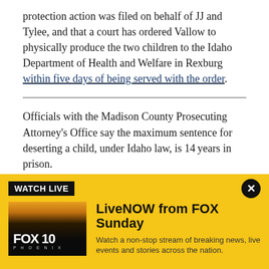protection action was filed on behalf of JJ and Tylee, and that a court has ordered Vallow to physically produce the two children to the Idaho Department of Health and Welfare in Rexburg within five days of being served with the order.
Officials with the Madison County Prosecuting Attorney's Office say the maximum sentence for deserting a child, under Idaho law, is 14 years in prison.
Vallow waived extradition and arrived back in Idaho on March 5. Her bail was set at $1 million.
[Figure (screenshot): FOX 10 Phoenix LiveNOW advertisement banner with yellow background, WATCH LIVE label, FOX 10 Phoenix thumbnail showing desert sunset, and LiveNOW from FOX Sunday text with description.]